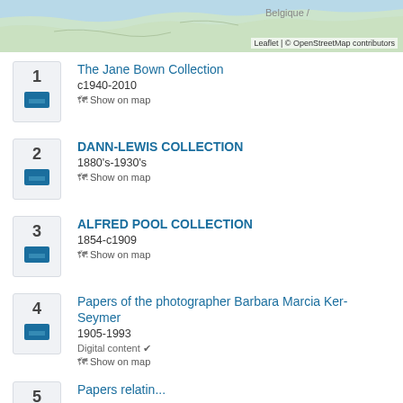[Figure (map): Partial map showing coastline with 'Belgique' label, with Leaflet/OpenStreetMap attribution in bottom right]
1 The Jane Bown Collection c1940-2010 Show on map
2 DANN-LEWIS COLLECTION 1880's-1930's Show on map
3 ALFRED POOL COLLECTION 1854-c1909 Show on map
4 Papers of the photographer Barbara Marcia Ker-Seymer 1905-1993 Digital content Show on map
5 (partial, text cut off at bottom)